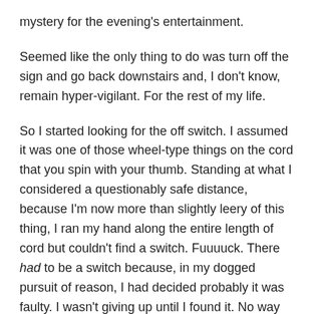mystery for the evening's entertainment.
Seemed like the only thing to do was turn off the sign and go back downstairs and, I don't know, remain hyper-vigilant. For the rest of my life.
So I started looking for the off switch. I assumed it was one of those wheel-type things on the cord that you spin with your thumb. Standing at what I considered a questionably safe distance, because I'm now more than slightly leery of this thing, I ran my hand along the entire length of cord but couldn't find a switch. Fuuuuck. There had to be a switch because, in my dogged pursuit of reason, I had decided probably it was faulty. I wasn't giving up until I found it. No way was I willing to believe that some unknown force had picked up the cord and plugged the damn thing in.